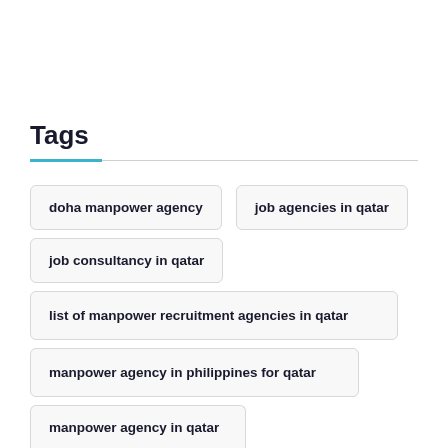Tags
doha manpower agency
job agencies in qatar
job consultancy in qatar
list of manpower recruitment agencies in qatar
manpower agency in philippines for qatar
manpower agency in qatar